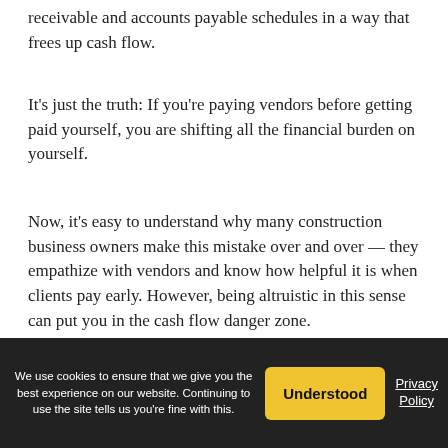receivable and accounts payable schedules in a way that frees up cash flow.
It's just the truth: If you're paying vendors before getting paid yourself, you are shifting all the financial burden on yourself.
Now, it's easy to understand why many construction business owners make this mistake over and over — they empathize with vendors and know how helpful it is when clients pay early. However, being altruistic in this sense can put you in the cash flow danger zone.
Extended payment terms are part of the game. Make sure that, contractually, the payment terms you give clients are shorter than the terms you have
We use cookies to ensure that we give you the best experience on our website. Continuing to use the site tells us you're fine with this.
Understood
Privacy Policy